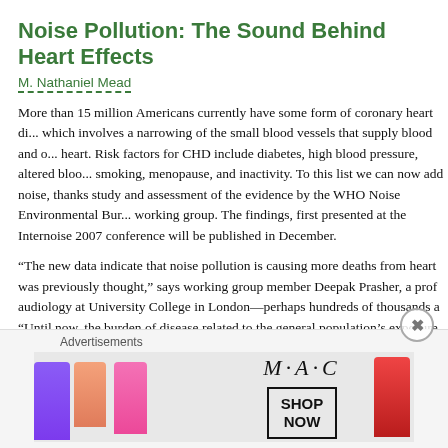Noise Pollution: The Sound Behind Heart Effects
M. Nathaniel Mead
More than 15 million Americans currently have some form of coronary heart di... which involves a narrowing of the small blood vessels that supply blood and o... heart. Risk factors for CHD include diabetes, high blood pressure, altered bloo... smoking, menopause, and inactivity. To this list we can now add noise, thanks... study and assessment of the evidence by the WHO Noise Environmental Bur... working group. The findings, first presented at the Internoise 2007 conference... will be published in December.
“The new data indicate that noise pollution is causing more deaths from heart ... was previously thought,” says working group member Deepak Prasher, a prof... audiology at University College in London—perhaps hundreds of thousands a... “Until now, the burden of disease related to the general population’s exposure... environmental noise has rarely been estimated in nonoccupational settings at... level.”
The separate noise-related working group first convened in 2003 and began s... data from studies in European countries to derive preliminary estimates of the...
Advertisements
[Figure (photo): MAC cosmetics advertisement showing colorful lipsticks and the MAC brand logo with a SHOP NOW button]